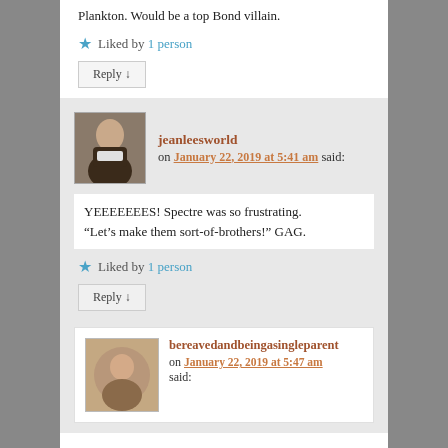Plankton. Would be a top Bond villain.
Liked by 1 person
Reply ↓
jeanleesworld on January 22, 2019 at 5:41 am said:
YEEEEEEES! Spectre was so frustrating. “Let’s make them sort-of-brothers!” GAG.
Liked by 1 person
Reply ↓
bereavedandbeingasingleparent on January 22, 2019 at 5:47 am said: